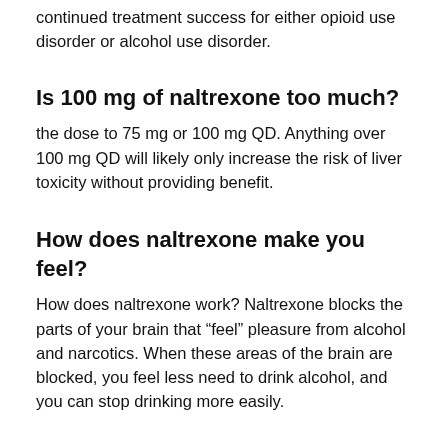continued treatment success for either opioid use disorder or alcohol use disorder.
Is 100 mg of naltrexone too much?
the dose to 75 mg or 100 mg QD. Anything over 100 mg QD will likely only increase the risk of liver toxicity without providing benefit.
How does naltrexone make you feel?
How does naltrexone work? Naltrexone blocks the parts of your brain that “feel” pleasure from alcohol and narcotics. When these areas of the brain are blocked, you feel less need to drink alcohol, and you can stop drinking more easily.
Does naltrexone affect mood?
The relation between depressive symptoms and poor adherence to naltrexone may be bidirectional: improving